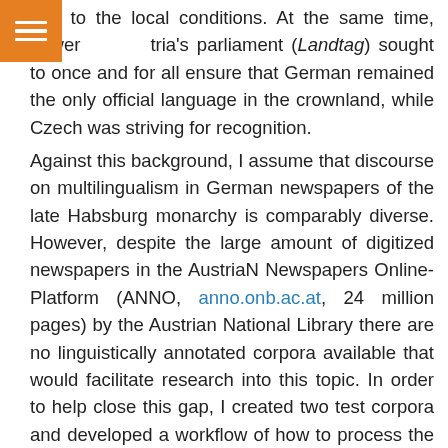[Figure (other): Orange square icon with three horizontal white lines (hamburger menu icon)]
due to the local conditions. At the same time, Lower Austria's parliament (Landtag) sought to once and for all ensure that German remained the only official language in the crownland, while Czech was striving for recognition.
Against this background, I assume that discourse on multilingualism in German newspapers of the late Habsburg monarchy is comparably diverse. However, despite the large amount of digitized newspapers in the AustriaN Newspapers Online-Platform (ANNO, anno.onb.ac.at, 24 million pages) by the Austrian National Library there are no linguistically annotated corpora available that would facilitate research into this topic. In order to help close this gap, I created two test corpora and developed a workflow of how to process the online available OCR-scans into XML-